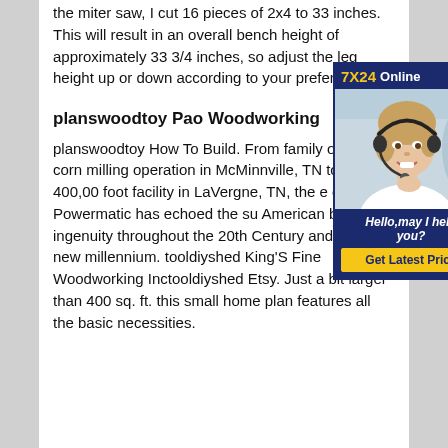the miter saw, I cut 16 pieces of 2x4 to 33 inches. This will result in an overall bench height of approximately 33 3/4 inches, so adjust the leg height up or down according to your preferences.
planswoodtoy Pao Woodworking
planswoodtoy How To Build. From family operated corn milling operation in McMinnville, TN to todays 400,000 foot facility in LaVergne, TN, the of Powermatic has echoed the success of American business ingenuity throughout the 20th Century and into the new millennium. tooldiyshed King'S Fine Woodworking Inctooldiyshed Etsy. Just a bit larger than 400 sq. ft. this small home plan features all the basic necessities.
[Figure (other): Advertisement banner with '7X24 Online' header in dark blue and yellow, a photo of a smiling woman wearing a headset, and a dark blue footer with italic text 'Hello,may I help you?' and a yellow 'Get Latest Price' button.]